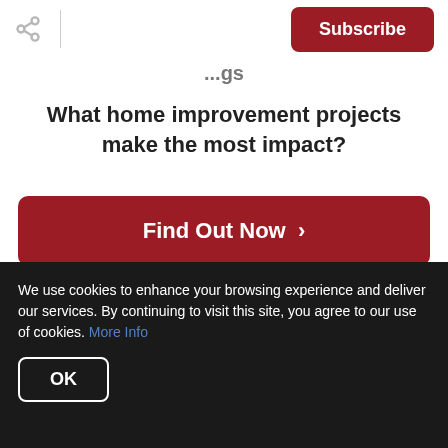Subscribe
...gs
What home improvement projects make the most impact?
Find Out Now >
necessary going forward. So, we've put together a guide to creating a home office space that fosters productivity and peace.
We use cookies to enhance your browsing experience and deliver our services. By continuing to visit this site, you agree to our use of cookies. More Info
OK